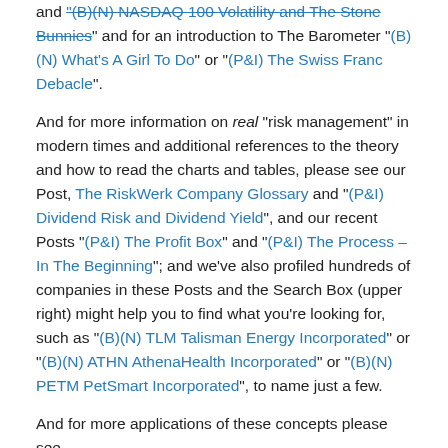and "(B)(N) NASDAQ 100 Volatility and The Stone Bunnies" and for an introduction to The Barometer "(B)(N) What's A Girl To Do" or "(P&I) The Swiss Franc Debacle".
And for more information on real "risk management" in modern times and additional references to the theory and how to read the charts and tables, please see our Post, The RiskWerk Company Glossary and "(P&I) Dividend Risk and Dividend Yield", and our recent Posts "(P&I) The Profit Box" and "(P&I) The Process – In The Beginning"; and we've also profiled hundreds of companies in these Posts and the Search Box (upper right) might help you to find what you're looking for, such as "(B)(N) TLM Talisman Energy Incorporated" or "(B)(N) ATHN AthenaHealth Incorporated" or "(B)(N) PETM PetSmart Incorporated", to name just a few.
And for more applications of these concepts please see